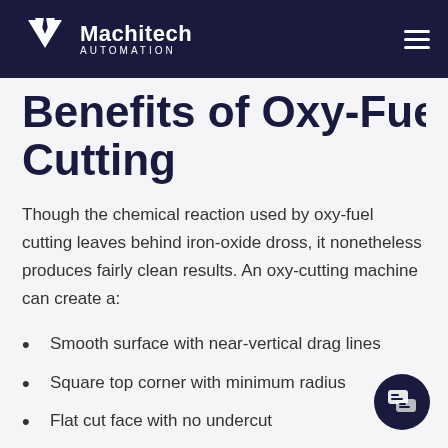Machitech Automation
Benefits of Oxy-Fuel Cutting
Though the chemical reaction used by oxy-fuel cutting leaves behind iron-oxide dross, it nonetheless produces fairly clean results. An oxy-cutting machine can create a:
Smooth surface with near-vertical drag lines
Square top corner with minimum radius
Flat cut face with no undercut
Square cut face